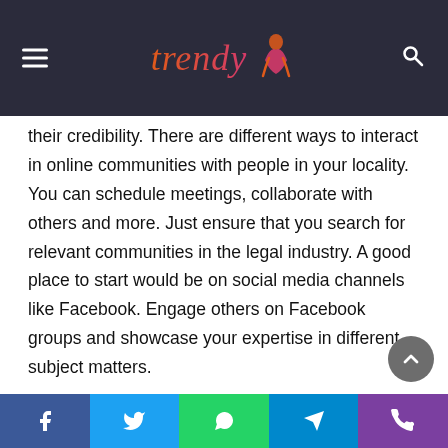Trendy
their credibility. There are different ways to interact in online communities with people in your locality. You can schedule meetings, collaborate with others and more. Just ensure that you search for relevant communities in the legal industry. A good place to start would be on social media channels like Facebook. Engage others on Facebook groups and showcase your expertise in different subject matters.
Conclusion
What's outlined above are only 7 tips to get you started in promoting your law firm online. While these are the most basic methods, the best way to get started is by discussing your
Facebook | Twitter | WhatsApp | Telegram | Phone